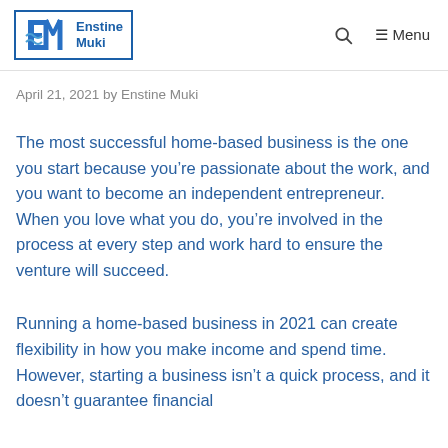Enstine Muki — logo, search, menu
April 21, 2021 by Enstine Muki
The most successful home-based business is the one you start because you’re passionate about the work, and you want to become an independent entrepreneur. When you love what you do, you’re involved in the process at every step and work hard to ensure the venture will succeed.
Running a home-based business in 2021 can create flexibility in how you make income and spend time. However, starting a business isn’t a quick process, and it doesn’t guarantee financial